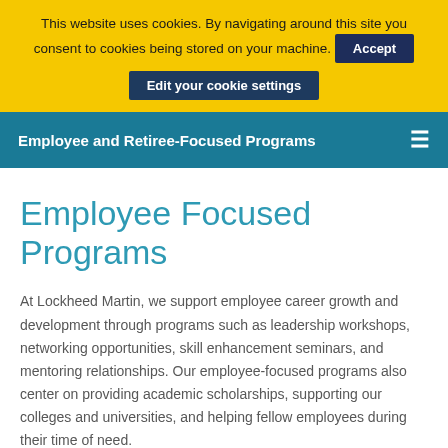This website uses cookies. By navigating around this site you consent to cookies being stored on your machine. Accept Edit your cookie settings
Employee and Retiree-Focused Programs
Employee Focused Programs
At Lockheed Martin, we support employee career growth and development through programs such as leadership workshops, networking opportunities, skill enhancement seminars, and mentoring relationships. Our employee-focused programs also center on providing academic scholarships, supporting our colleges and universities, and helping fellow employees during their time of need.